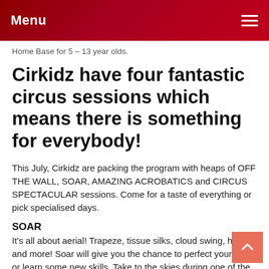Menu
Home Base for 5 – 13 year olds.
Cirkidz have four fantastic circus sessions which means there is something for everybody!
This July, Cirkidz are packing the program with heaps of OFF THE WALL, SOAR, AMAZING ACROBATICS and CIRCUS SPECTACULAR sessions. Come for a taste of everything or pick specialised days.
SOAR
It's all about aerial! Trapeze, tissue silks, cloud swing, hoop and more! Soar will give you the chance to perfect your tricks or learn some new skills. Take to the skies during one of the most popular sessions as you learn from the highly skilled trainers.